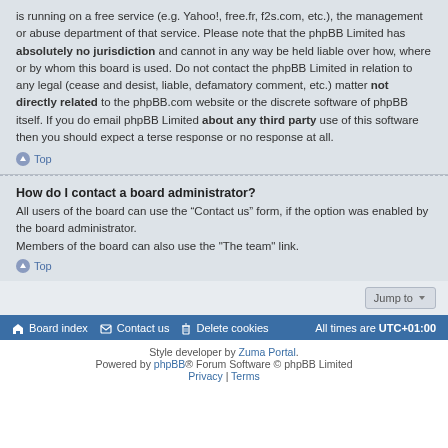is running on a free service (e.g. Yahoo!, free.fr, f2s.com, etc.), the management or abuse department of that service. Please note that the phpBB Limited has absolutely no jurisdiction and cannot in any way be held liable over how, where or by whom this board is used. Do not contact the phpBB Limited in relation to any legal (cease and desist, liable, defamatory comment, etc.) matter not directly related to the phpBB.com website or the discrete software of phpBB itself. If you do email phpBB Limited about any third party use of this software then you should expect a terse response or no response at all.
Top
How do I contact a board administrator?
All users of the board can use the “Contact us” form, if the option was enabled by the board administrator.
Members of the board can also use the "The team" link.
Top
Board index | Contact us | Delete cookies | All times are UTC+01:00
Style developer by Zuma Portal. Powered by phpBB® Forum Software © phpBB Limited | Privacy | Terms